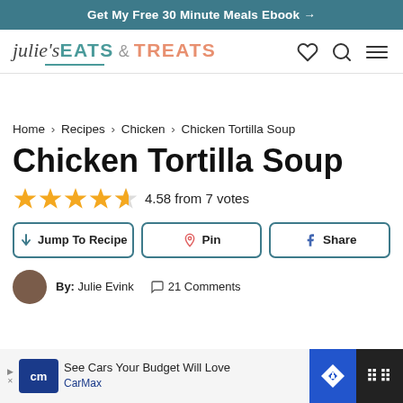Get My Free 30 Minute Meals Ebook →
[Figure (logo): Julie's Eats & Treats website logo with stylized script and sans-serif text]
Home > Recipes > Chicken > Chicken Tortilla Soup
Chicken Tortilla Soup
4.58 from 7 votes
Jump To Recipe | Pin | Share
By: Julie Evink   21 Comments